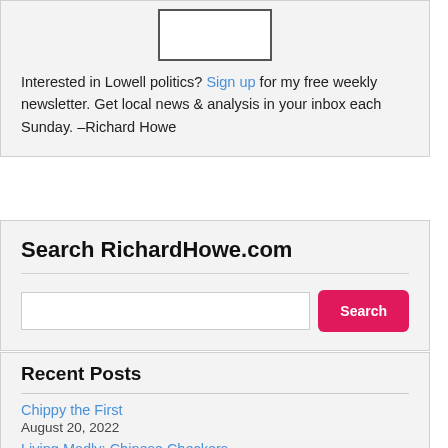[Figure (other): Small placeholder image box (white rectangle with border)]
Interested in Lowell politics? Sign up for my free weekly newsletter. Get local news & analysis in your inbox each Sunday. –Richard Howe
Search RichardHowe.com
[Figure (other): Search input field and Search button]
Recent Posts
Chippy the First
August 20, 2022
Living Madly: Chinese Checkers
August 17, 2022